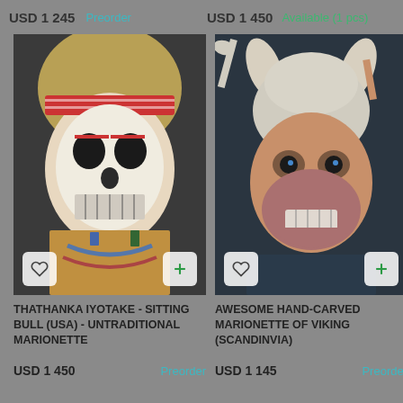USD 1 245
Preorder
USD 1 450
Available (1 pcs)
[Figure (photo): Marionette puppet with skull face, long blonde hair, red striped headband, decorated with beaded necklaces]
[Figure (photo): Hand-carved marionette of a Viking character with horned helmet, fierce expression, beard, holding weapons]
THATHANKA IYOTAKE - SITTING BULL (USA) - UNTRADITIONAL MARIONETTE
USD 1 450
Preorder
AWESOME HAND-CARVED MARIONETTE OF VIKING (SCANDINVIA)
USD 1 145
Preorder